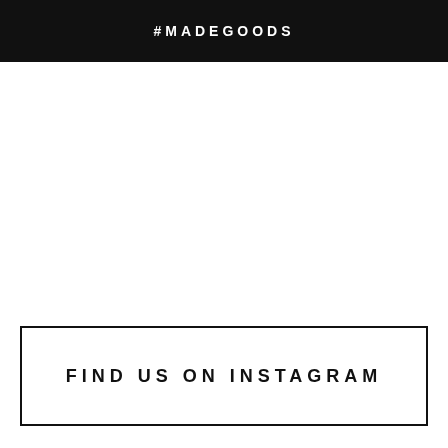#MADEGOODS
FIND US ON INSTAGRAM